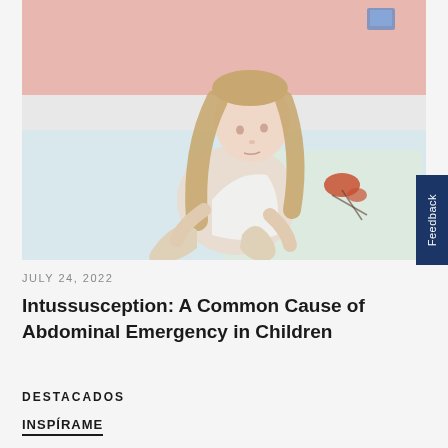[Figure (photo): A young girl with long blonde hair sitting on a bed, hugging her knees to her chest. She appears to be in discomfort, holding her abdomen. The background shows a pink wall and a floral pillow. The setting is a bedroom.]
JULY 24, 2022
Intussusception: A Common Cause of Abdominal Emergency in Children
DESTACADOS
INSPÍRAME